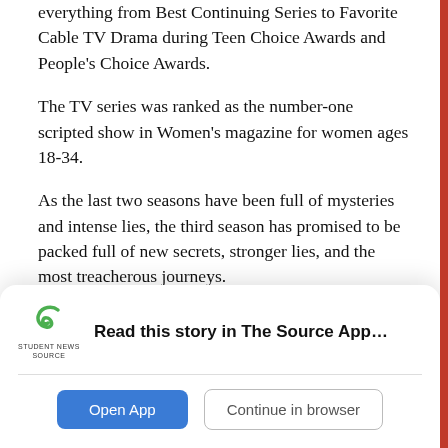everything from Best Continuing Series to Favorite Cable TV Drama during Teen Choice Awards and People's Choice Awards.
The TV series was ranked as the number-one scripted show in Women's magazine for women ages 18-34.
As the last two seasons have been full of mysteries and intense lies, the third season has promised to be packed full of new secrets, stronger lies, and the most treacherous journeys.
[Figure (other): App promotion banner with Student News Source logo, text 'Read this story in The Source App...', an Open App button and a Continue in browser button.]